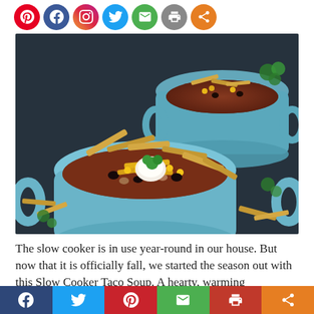[Figure (other): Row of circular social media share icons: Pinterest (red), Facebook (blue), Instagram (gradient), Twitter (blue), Email (green), Print (gray), Share (orange)]
[Figure (photo): Food photography showing two light blue ceramic soup bowls filled with slow cooker taco soup, topped with tortilla strips, shredded cheese, sour cream, and cilantro, on a dark slate background with scattered cilantro and tortilla strips]
The slow cooker is in use year-round in our house. But now that it is officially fall, we started the season out with this Slow Cooker Taco Soup. A hearty, warming
[Figure (other): Bottom social sharing bar with colored buttons: Facebook (dark blue), Twitter (light blue), Pinterest (red), Email (green), Print (orange-red), Share (orange)]